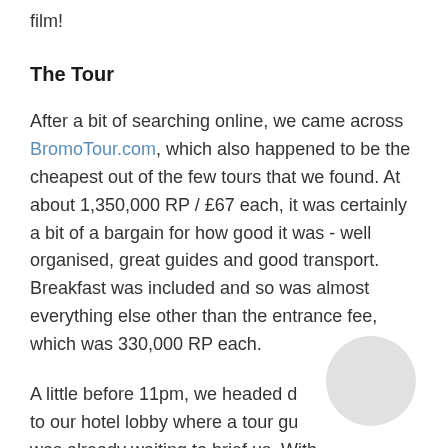film!
The Tour
After a bit of searching online, we came across BromoTour.com, which also happened to be the cheapest out of the few tours that we found. At about 1,350,000 RP / £67 each, it was certainly a bit of a bargain for how good it was - well organised, great guides and good transport. Breakfast was included and so was almost everything else other than the entrance fee, which was 330,000 RP each.
A little before 11pm, we headed d to our hotel lobby where a tour gu was already waiting to brief us. With